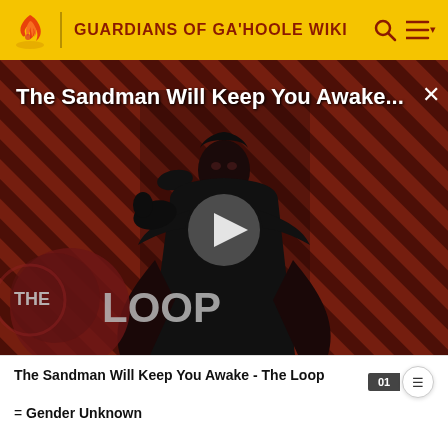GUARDIANS OF GA'HOOLE WIKI
[Figure (screenshot): Video thumbnail for 'The Sandman Will Keep You Awake - The Loop' showing a figure in black against a red diagonal-striped background with The Loop logo. Includes a play button overlay.]
The Sandman Will Keep You Awake - The Loop
= Gender Unknown